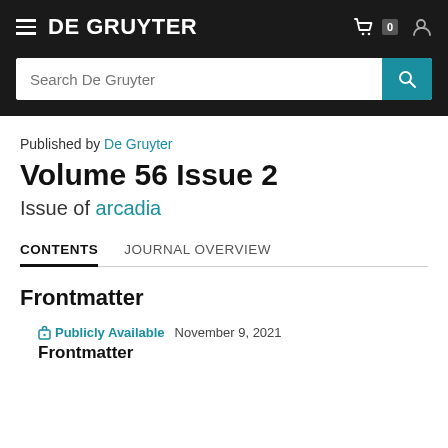DE GRUYTER
Published by De Gruyter
Volume 56 Issue 2
Issue of arcadia
CONTENTS   JOURNAL OVERVIEW
Frontmatter
Publicly Available   November 9, 2021
Frontmatter